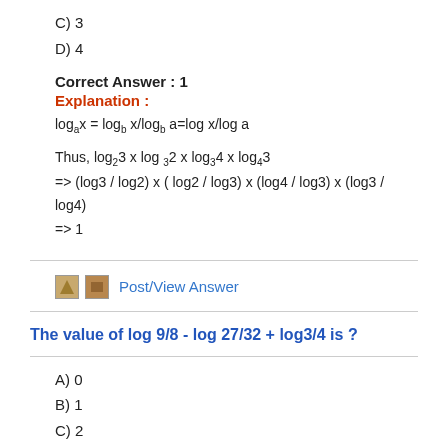C) 3
D) 4
Correct Answer : 1
Explanation :
logax = logb x/logb a=log x/log a
Thus, log23 x log 32 x log34 x log43
=> (log3 / log2) x ( log2 / log3) x (log4 / log3) x (log3 / log4)
=> 1
Post/View Answer
The value of log 9/8 - log 27/32 + log3/4 is ?
A) 0
B) 1
C) 2
D) 3
Correct Answer : 0